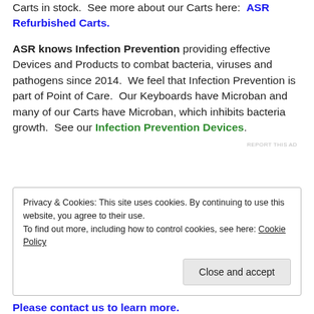Carts in stock.  See more about our Carts here:  ASR Refurbished Carts.
ASR knows Infection Prevention providing effective Devices and Products to combat bacteria, viruses and pathogens since 2014.  We feel that Infection Prevention is part of Point of Care.  Our Keyboards have Microban and many of our Carts have Microban, which inhibits bacteria growth.  See our Infection Prevention Devices.
REPORT THIS AD
Privacy & Cookies: This site uses cookies. By continuing to use this website, you agree to their use.
To find out more, including how to control cookies, see here: Cookie Policy
Close and accept
Please contact us to learn more.